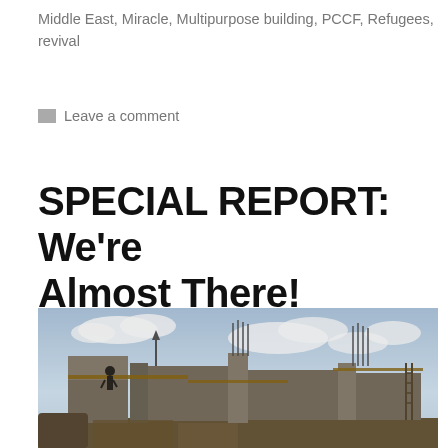Middle East, Miracle, Multipurpose building, PCCF, Refugees, revival
Leave a comment
SPECIAL REPORT: We're Almost There!
[Figure (photo): A building under construction with exposed concrete columns and rebar, scaffolding, and workers visible on the structure against a cloudy sky.]